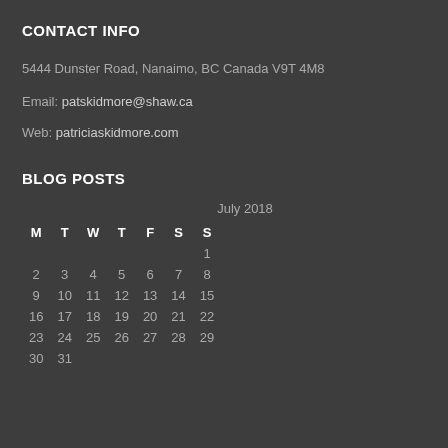CONTACT INFO
5444 Dunster Road, Nanaimo, BC Canada V9T 4M8
Email: patskidmore@shaw.ca
Web: patriciaskidmore.com
BLOG POSTS
| M | T | W | T | F | S | S |
| --- | --- | --- | --- | --- | --- | --- |
|  |  |  |  |  |  | 1 |
| 2 | 3 | 4 | 5 | 6 | 7 | 8 |
| 9 | 10 | 11 | 12 | 13 | 14 | 15 |
| 16 | 17 | 18 | 19 | 20 | 21 | 22 |
| 23 | 24 | 25 | 26 | 27 | 28 | 29 |
| 30 | 31 |  |  |  |  |  |